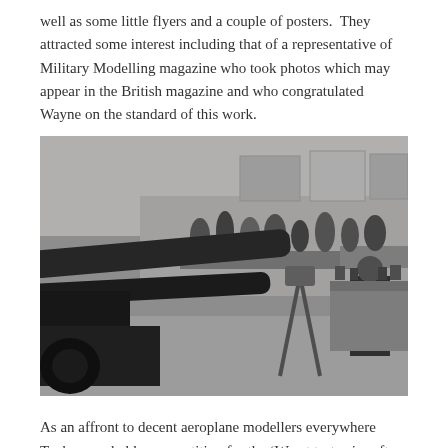well as some little flyers and a couple of posters.  They attracted some interest including that of a representative of Military Modelling magazine who took photos which may appear in the British magazine and who congratulated Wayne on the standard of this work.
[Figure (photo): Black and white photograph of a model show/exhibition hall with large artillery gun models in the foreground and people browsing display tables in the background.]
As an affront to decent aeroplane modellers everywhere Tankorama held a competition for the 'Worst taste aircraft model' which Wayne duly won with his tittle Taliban effort (as shown in the previous issue of our Newsletter).  There were no competitions for armour models, the most excitement came from the raffle which always presents the opportunity with